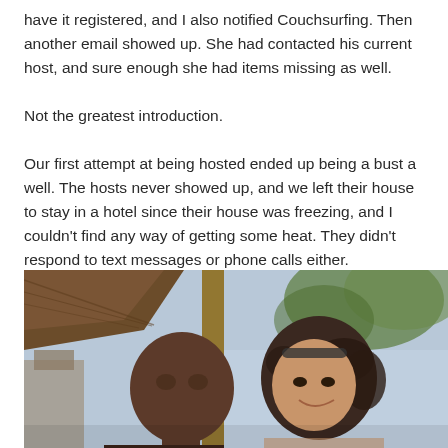have it registered, and I also notified Couchsurfing. Then another email showed up. She had contacted his current host, and sure enough she had items missing as well.

Not the greatest introduction.

Our first attempt at being hosted ended up being a bust a well. The hosts never showed up, and we left their house to stay in a hotel since their house was freezing, and I couldn't find any way of getting some heat. They didn't respond to text messages or phone calls either.
[Figure (photo): A photo of two people — a man and a woman — posing together outdoors in a tropical setting with a thatched roof structure visible in the background.]